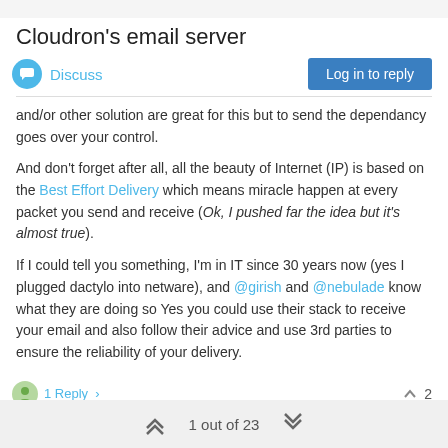Cloudron's email server
Discuss
and/or other solution are great for this but to send the dependancy goes over your control.
And don't forget after all, all the beauty of Internet (IP) is based on the Best Effort Delivery which means miracle happen at every packet you send and receive (Ok, I pushed far the idea but it's almost true).
If I could tell you something, I'm in IT since 30 years now (yes I plugged dactylo into netware), and @girish and @nebulade know what they are doing so Yes you could use their stack to receive your email and also follow their advice and use 3rd parties to ensure the reliability of your delivery.
1 Reply > ^ 2
1 out of 23